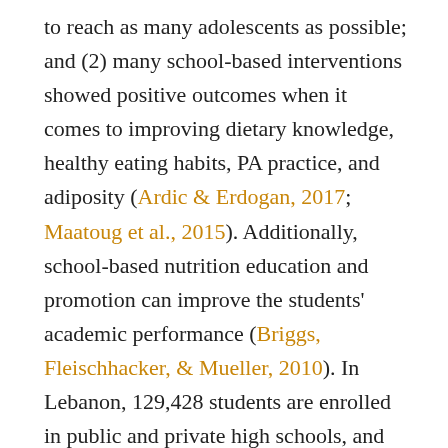to reach as many adolescents as possible; and (2) many school-based interventions showed positive outcomes when it comes to improving dietary knowledge, healthy eating habits, PA practice, and adiposity (Ardic & Erdogan, 2017; Maatoug et al., 2015). Additionally, school-based nutrition education and promotion can improve the students' academic performance (Briggs, Fleischhacker, & Mueller, 2010). In Lebanon, 129,428 students are enrolled in public and private high schools, and 84.4% of all students are Lebanese (Center for Educational Research and Development, 2018).
When planning school-based interventions, the planners must determine how much material can be delivered and cognitively processed in one class